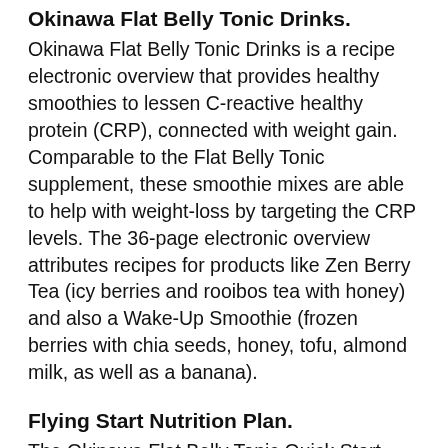Okinawa Flat Belly Tonic Drinks.
Okinawa Flat Belly Tonic Drinks is a recipe electronic overview that provides healthy smoothies to lessen C-reactive healthy protein (CRP), connected with weight gain. Comparable to the Flat Belly Tonic supplement, these smoothie mixes are able to help with weight-loss by targeting the CRP levels. The 36-page electronic overview attributes recipes for products like Zen Berry Tea (icy berries and rooibos tea with honey) and also a Wake-Up Smoothie (frozen berries with chia seeds, honey, tofu, almond milk, as well as a banana).
Flying Start Nutrition Plan.
The Okinawa Flat Belly Tonic Quick Start Nutrition Plan is a digital overview describing